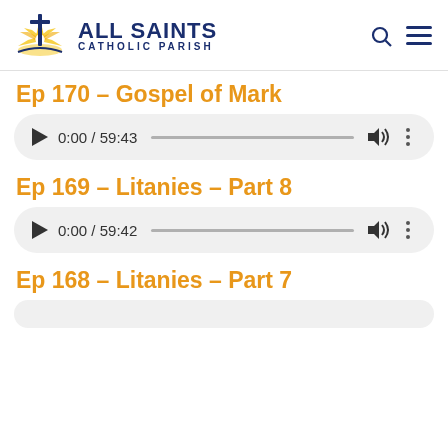ALL SAINTS CATHOLIC PARISH
Ep 170 – Gospel of Mark
[Figure (screenshot): Audio player showing 0:00 / 59:43]
Ep 169 – Litanies – Part 8
[Figure (screenshot): Audio player showing 0:00 / 59:42]
Ep 168 – Litanies – Part 7